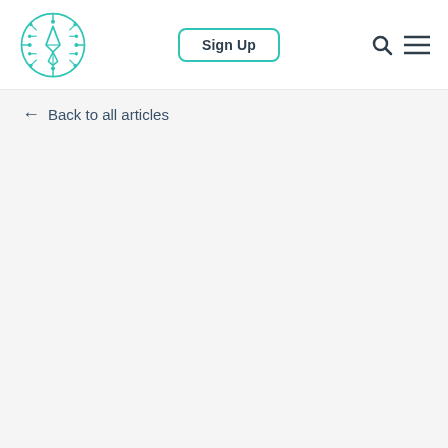Sign Up
← Back to all articles